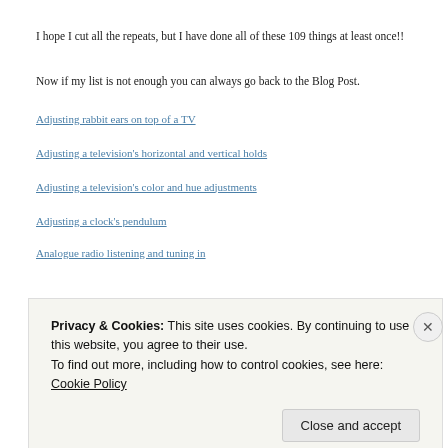I hope I cut all the repeats, but I have done all of these 109 things at least once!!
Now if my list is not enough you can always go back to the Blog Post.
Adjusting rabbit ears on top of a TV
Adjusting a television's horizontal and vertical holds
Adjusting a television's color and hue adjustments
Adjusting a clock's pendulum
Analogue radio listening and tuning in
Privacy & Cookies: This site uses cookies. By continuing to use this website, you agree to their use.
To find out more, including how to control cookies, see here: Cookie Policy
Close and accept